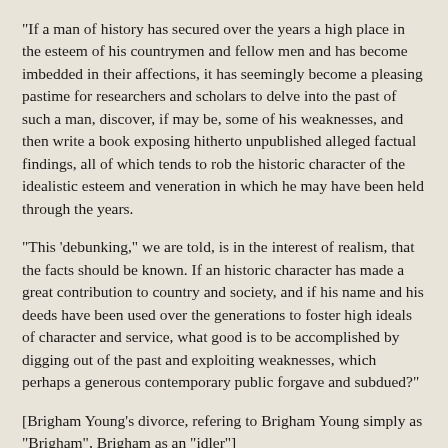"If a man of history has secured over the years a high place in the esteem of his countrymen and fellow men and has become imbedded in their affections, it has seemingly become a pleasing pastime for researchers and scholars to delve into the past of such a man, discover, if may be, some of his weaknesses, and then write a book exposing hitherto unpublished alleged factual findings, all of which tends to rob the historic character of the idealistic esteem and veneration in which he may have been held through the years.
"This 'debunking," we are told, is in the interest of realism, that the facts should be known. If an historic character has made a great contribution to country and society, and if his name and his deeds have been used over the generations to foster high ideals of character and service, what good is to be accomplished by digging out of the past and exploiting weaknesses, which perhaps a generous contemporary public forgave and subdued?"
[Brigham Young's divorce, refering to Brigham Young simply as "Brigham", Brigham as an "idler"]
... However, if I know scholars at all, it would be my opinion that